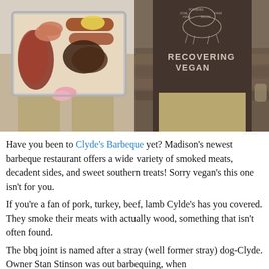[Figure (photo): Left: A person holding a metal tray filled with assorted smoked BBQ meats including ribs, sausage, sliced ham, and sides. Right: Back of a person wearing a dark brown t-shirt with a pig butcher diagram and text reading 'RECOVERING VEGAN'.]
Have you been to Clyde's Barbeque yet? Madison's newest barbeque restaurant offers a wide variety of smoked meats, decadent sides, and sweet southern treats! Sorry vegan's this one isn't for you.
If you're a fan of pork, turkey, beef, lamb Cylde's has you covered. They smoke their meats with actually wood, something that isn't often found.
The bbq joint is named after a stray (well former stray) dog-Clyde. Owner Stan Stinson was out barbequing, when